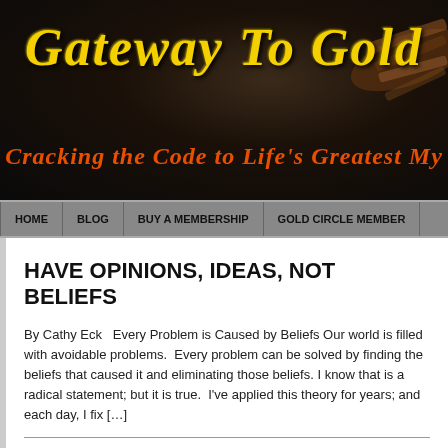[Figure (screenshot): Website header banner with dark background showing site title 'Gateway To Gold' in yellow italic serif font and subtitle 'Cracking the Code to Life's Greatest My...' in orange italic serif font]
HOME | BLOG | BUY A MEMBERSHIP | GOLD CIRCLE MEMBER...
HAVE OPINIONS, IDEAS, NOT BELIEFS
By Cathy Eck   Every Problem is Caused by Beliefs Our world is filled with avoidable problems.  Every problem can be solved by finding the beliefs that caused it and eliminating those beliefs. I know that is a radical statement; but it is true.  I've applied this theory for years; and each day, I fix [...]